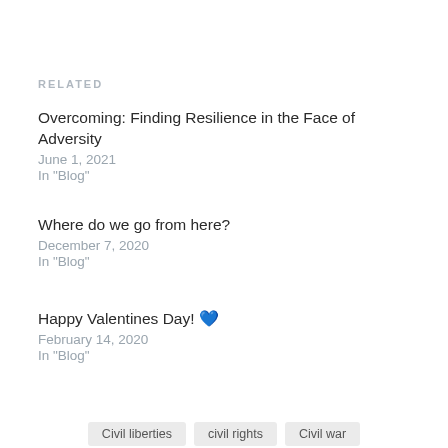RELATED
Overcoming: Finding Resilience in the Face of Adversity
June 1, 2021
In "Blog"
Where do we go from here?
December 7, 2020
In "Blog"
Happy Valentines Day! 💙
February 14, 2020
In "Blog"
Civil liberties   civil rights   Civil war